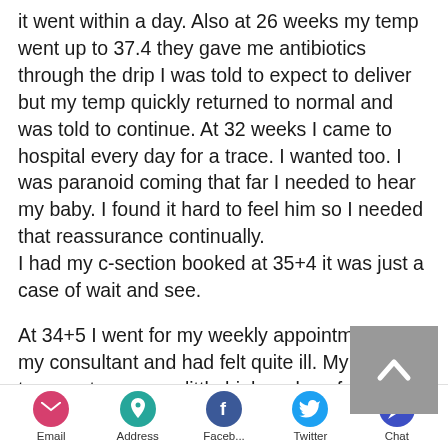it went within a day. Also at 26 weeks my temp went up to 37.4 they gave me antibiotics through the drip I was told to expect to deliver but my temp quickly returned to normal and was told to continue. At 32 weeks I came to hospital every day for a trace. I wanted too. I was paranoid coming that far I needed to hear my baby. I found it hard to feel him so I needed that reassurance continually. I had my c-section booked at 35+4 it was just a case of wait and see.
At 34+5 I went for my weekly appointment with my consultant and had felt quite ill. My temperature was a little high and my face swollen. I
Email | Address | Faceb... | Twitter | Chat